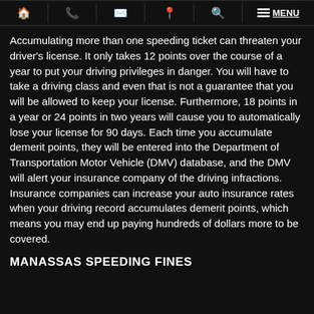Navigation bar with home, phone, email, location, search, menu icons
Accumulating more than one speeding ticket can threaten your driver's license. It only takes 12 points over the course of a year to put your driving privileges in danger. You will have to take a driving class and even that is not a guarantee that you will be allowed to keep your license. Furthermore, 18 points in a year or 24 points in two years will cause you to automatically lose your license for 90 days. Each time you accumulate demerit points, they will be entered into the Department of Transportation Motor Vehicle (DMV) database, and the DMV will alert your insurance company of the driving infractions. Insurance companies can increase your auto insurance rates when your driving record accumulates demerit points, which means you may end up paying hundreds of dollars more to be covered.
MANASSAS SPEEDING FINES